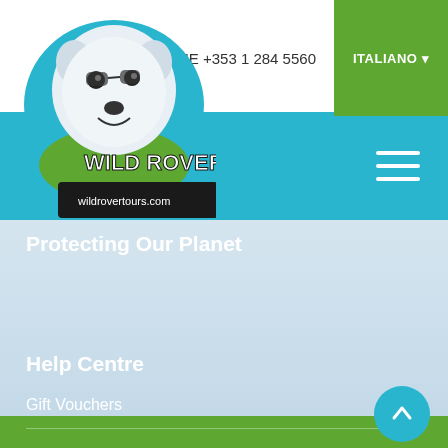IE +353 1 284 5560
ITALIANO
[Figure (logo): Wild Rover Tours logo — cartoon white dog with teal circle background, text WILD ROVER above wildrovertours.com on dark banner]
Protecting Our Planet
Help Centre
Gift Vouchers